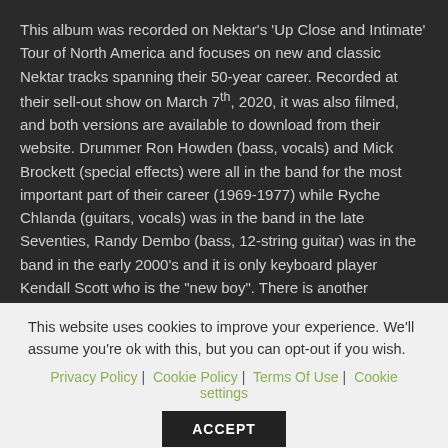This album was recorded on Nektar's 'Up Close and Intimate' Tour of North America and focuses on new and classic Nektar tracks spanning their 50-year career. Recorded at their sell-out show on March 7th, 2020, it was also filmed, and both versions are available to download from their website. Drummer Ron Howden (bass, vocals) and Mick Brockett (special effects) were all in the band for the most important part of their career (1969-1977) while Ryche Chlanda (guitars, vocals) was in the band in the late Seventies, Randy Dembo (bass, 12-string guitar) was in the band in the early 2000's and it is only keyboard player Kendall Scott who is the "new boy". There is another
This website uses cookies to improve your experience. We'll assume you're ok with this, but you can opt-out if you wish.
Privacy Policy | Cookie Policy | Terms Of Use | Cookie settings
ACCEPT